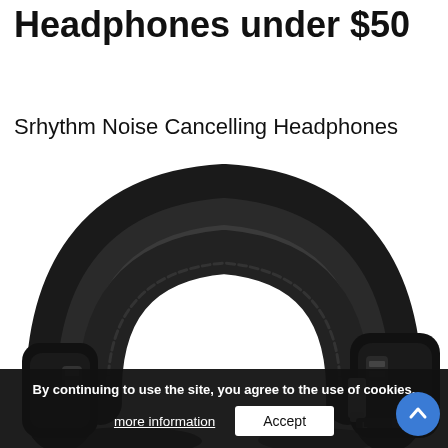Headphones under $50
Srhythm Noise Cancelling Headphones
[Figure (photo): Close-up photo of black over-ear Srhythm noise cancelling headphones showing the headband and ear cup, on a white background.]
By continuing to use the site, you agree to the use of cookies.
more information
Accept